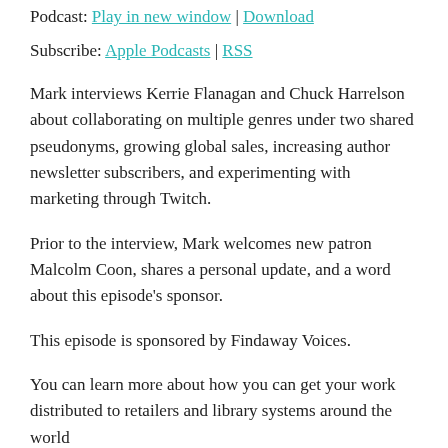Podcast: Play in new window | Download
Subscribe: Apple Podcasts | RSS
Mark interviews Kerrie Flanagan and Chuck Harrelson about collaborating on multiple genres under two shared pseudonyms, growing global sales, increasing author newsletter subscribers, and experimenting with marketing through Twitch.
Prior to the interview, Mark welcomes new patron Malcolm Coon, shares a personal update, and a word about this episode's sponsor.
This episode is sponsored by Findaway Voices.
You can learn more about how you can get your work distributed to retailers and library systems around the world